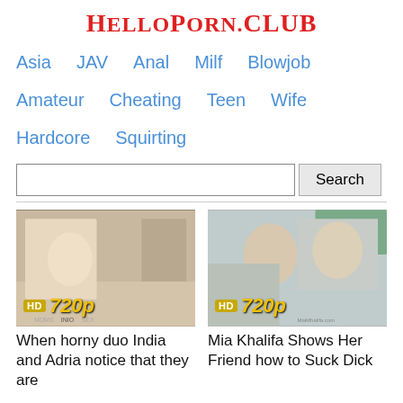HelloPorn.club
Asia   JAV   Anal   Milf   Blowjob
Amateur   Cheating   Teen   Wife
Hardcore   Squirting
[Figure (screenshot): Search bar with text input and Search button]
[Figure (photo): Video thumbnail with HD 720p badge, MOMSINIOSEX watermark]
When horny duo India and Adria notice that they are
[Figure (photo): Video thumbnail with HD 720p badge, MiaMhalifa.com watermark]
Mia Khalifa Shows Her Friend how to Suck Dick